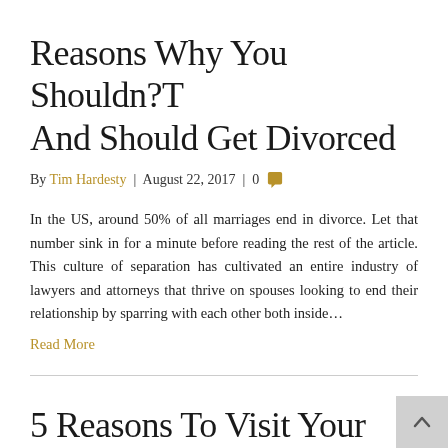Reasons Why You Shouldn?T And Should Get Divorced
By Tim Hardesty | August 22, 2017 | 0
In the US, around 50% of all marriages end in divorce. Let that number sink in for a minute before reading the rest of the article. This culture of separation has cultivated an entire industry of lawyers and attorneys that thrive on spouses looking to end their relationship by sparring with each other both inside...
Read More
5 Reasons To Visit Your Family